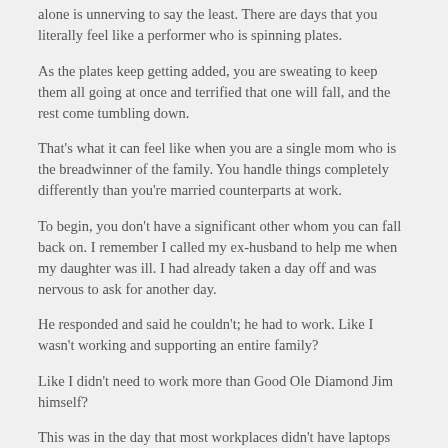alone is unnerving to say the least. There are days that you literally feel like a performer who is spinning plates.
As the plates keep getting added, you are sweating to keep them all going at once and terrified that one will fall, and the rest come tumbling down.
That's what it can feel like when you are a single mom who is the breadwinner of the family. You handle things completely differently than you're married counterparts at work.
To begin, you don't have a significant other whom you can fall back on. I remember I called my ex-husband to help me when my daughter was ill. I had already taken a day off and was nervous to ask for another day.
He responded and said he couldn't; he had to work. Like I wasn't working and supporting an entire family?
Like I didn't need to work more than Good Ole Diamond Jim himself?
This was in the day that most workplaces didn't have laptops they could bring home. So, what do you do? You take the day